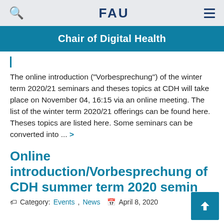FAU
Chair of Digital Health
The online introduction ("Vorbesprechung") of the winter term 2020/21 seminars and theses topics at CDH will take place on November 04, 16:15 via an online meeting. The list of the winter term 2020/21 offerings can be found here. Theses topics are listed here. Some seminars can be converted into ... >
Online introduction/Vorbesprechung of CDH summer term 2020 semin
Category: Events, News  April 8, 2020